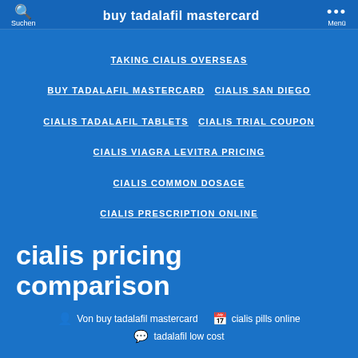Suchen | buy tadalafil mastercard | Menü
TAKING CIALIS OVERSEAS
BUY TADALAFIL MASTERCARD
CIALIS SAN DIEGO
CIALIS TADALAFIL TABLETS
CIALIS TRIAL COUPON
CIALIS VIAGRA LEVITRA PRICING
CIALIS COMMON DOSAGE
CIALIS PRESCRIPTION ONLINE
cialis pricing comparison
Von buy tadalafil mastercard   cialis pills online   tadalafil low cost
Tadalafil overnight